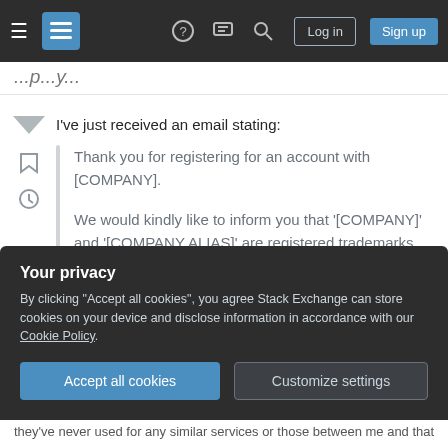Stack Exchange navigation bar with hamburger menu, logo, help, chat, search icons, Log in and Sign up buttons
(page title, partially cut off at top)
I've just received an email stating:
Thank you for registering for an account with [COMPANY].

We would kindly like to inform you that '[COMPANY]' and '[COMPANY ALIAS]' are registered trademarks and therefore should not be used in any e-mail addresses so as to not cause any confusion or
Your privacy
By clicking "Accept all cookies", you agree Stack Exchange can store cookies on your device and disclose information in accordance with our Cookie Policy.
Accept all cookies
Customize settings
they've never used for any similar services or those between me and that company. I like using this